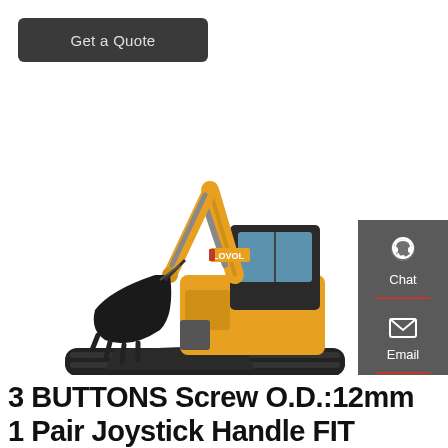Get a Quote
[Figure (photo): Yellow LOVOL mini excavator with bucket and blade attachment on white background]
[Figure (infographic): Sidebar with Chat, Email, and Contact icons on dark grey background with red dividers]
3 BUTTONS Screw O.D.:12mm 1 Pair Joystick Handle FIT